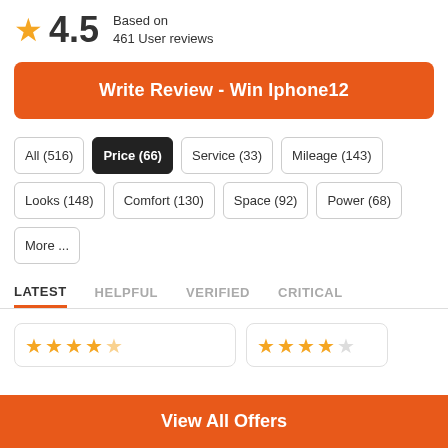4.5 Based on 461 User reviews
Write Review - Win Iphone12
All (516)
Price (66)
Service (33)
Mileage (143)
Looks (148)
Comfort (130)
Space (92)
Power (68)
More ...
LATEST   HELPFUL   VERIFIED   CRITICAL
View All Offers